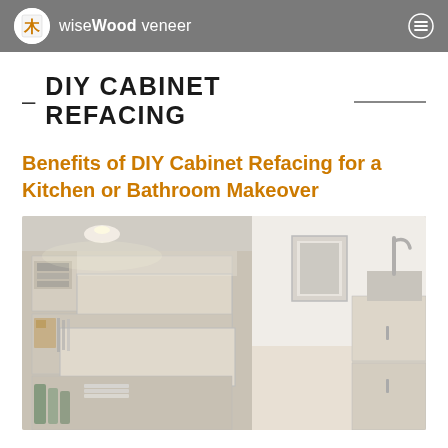wiseWood veneer
DIY CABINET REFACING
Benefits of DIY Cabinet Refacing for a Kitchen or Bathroom Makeover
[Figure (photo): Photo of modern light wood kitchen cabinets with open drawers, showing interior storage items, with a kitchen sink visible in the background on the right]